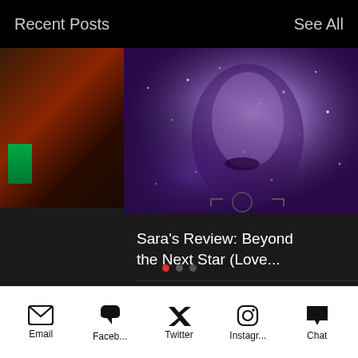Recent Posts
See All
[Figure (screenshot): Mobile app screenshot showing a blog post card with a purple/violet fantasy woman close-up image, post title 'Sara's Review: Beyond the Next Star (Love...', 19 views, 0 comments, heart icon, and pagination dots]
Sara's Review: Beyond the Next Star (Love...
19
0
Email  Faceb...  Twitter  Instagr...  Chat